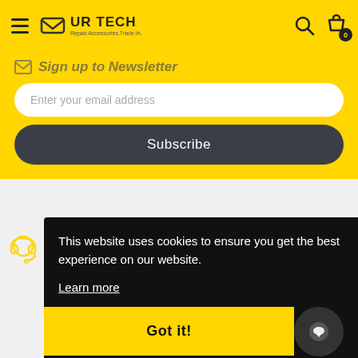UR TECH — Repair. Accessories. Trade In.
Sign up to Newsletter
Enter your email address
Subscribe
This website uses cookies to ensure you get the best experience on our website.
Learn more
Got it!
Cont
UR T
UR T